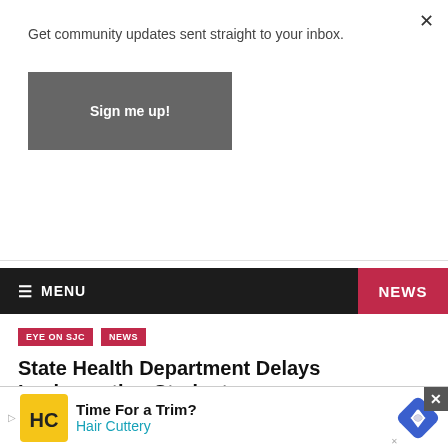Get community updates sent straight to your inbox.
Sign me up!
[Figure (screenshot): Dispatch Daily advertisement banner with logo and text: Receive breaking news and updates straight to your inbox. Sign up today!]
≡ MENU   NEWS
EYE ON SJC
NEWS
State Health Department Delays Implementing Student
[Figure (screenshot): Hair Cuttery advertisement: Time For a Trim? Hair Cuttery]